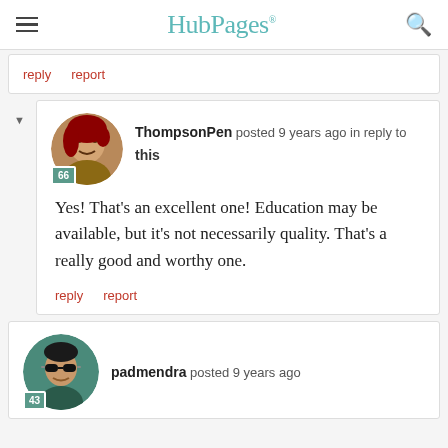HubPages
reply   report
ThompsonPen posted 9 years ago in reply to this

Yes! That's an excellent one! Education may be available, but it's not necessarily quality. That's a really good and worthy one.

reply   report
padmendra posted 9 years ago